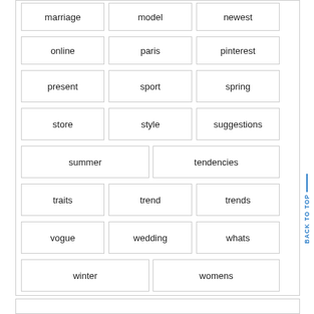marriage
model
newest
online
paris
pinterest
present
sport
spring
store
style
suggestions
summer
tendencies
traits
trend
trends
vogue
wedding
whats
winter
womens